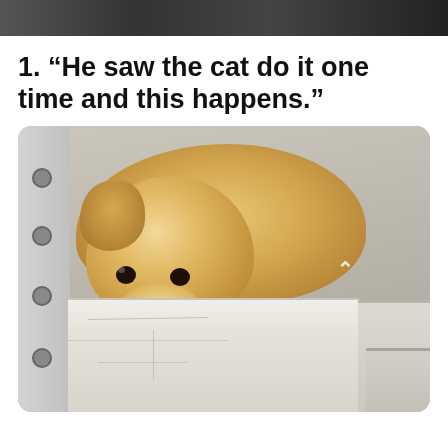[Figure (photo): Dark banner strip at the top of the page, appears to be a cropped image or header bar]
1. “He saw the cat do it one time and this happens.”
[Figure (photo): A yellow Labrador Retriever dog lying draped over a white stone or concrete ledge/shelf, looking sulky or defeated, with its chin resting on the ledge. There is a metal rail with holes on the left side of the image, and small wooden steps on the right. The wall behind the dog is light grey/cream colored.]